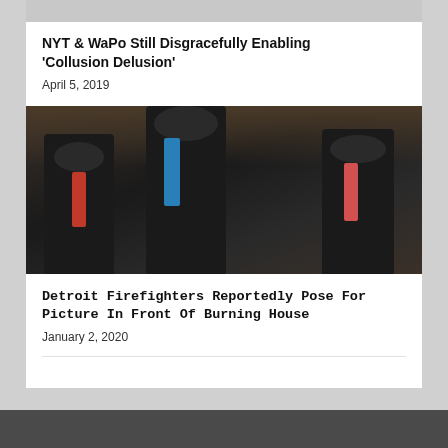[Figure (photo): Top portion of a previous article image, cropped, gray placeholder]
NYT & WaPo Still Disgracefully Enabling 'Collusion Delusion'
April 5, 2019
[Figure (photo): Three men in dark suits walking, the center man wearing a blue tie, the other two wearing red/pink ties, in what appears to be a government building hallway]
Detroit Firefighters Reportedly Pose For Picture In Front Of Burning House
January 2, 2020